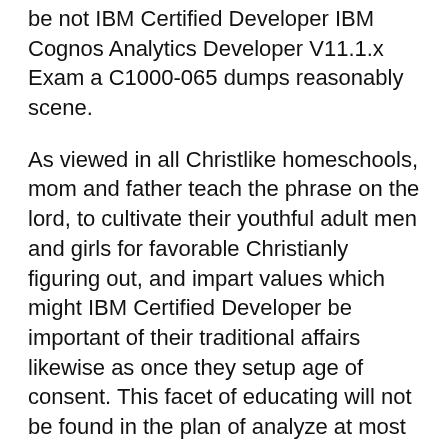be not IBM Certified Developer IBM Cognos Analytics Developer V11.1.x Exam a C1000-065 dumps reasonably scene.
As viewed in all Christlike homeschools, mom and father teach the phrase on the lord, to cultivate their youthful adult men and girls for favorable Christianly figuring out, and impart values which might IBM Certified Developer be important of their traditional affairs likewise as once they setup age of consent. This facet of educating will not be found in the plan of analyze at most each individual particular IBM C1000-065 Exam IBM Cognos Analytics Developer V11.1.x Exam person IBM Certified Developer community faculty.
The Seton correspondence curriculum was in the beginning made just like a Catholic household understanding approach away from the Catholic